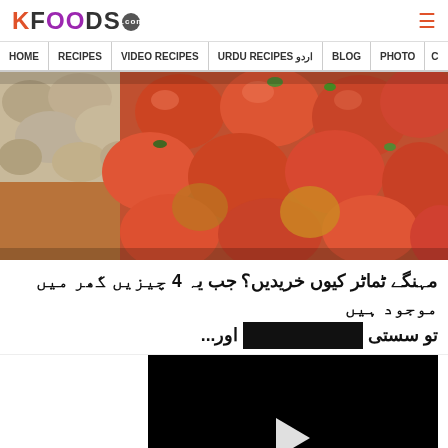KFOODS.com
HOME | RECIPES | VIDEO RECIPES | URDU RECIPES اردو | BLOG | PHOTO
[Figure (photo): A pile of red tomatoes and potatoes at a market stall]
مہنگے ٹماٹر کیوں خریدیں؟ جب یہ 4 چیزیں گھر میں موجود ہیں تو سستی ... اور...
[Figure (screenshot): Video player with black background and white play button triangle]